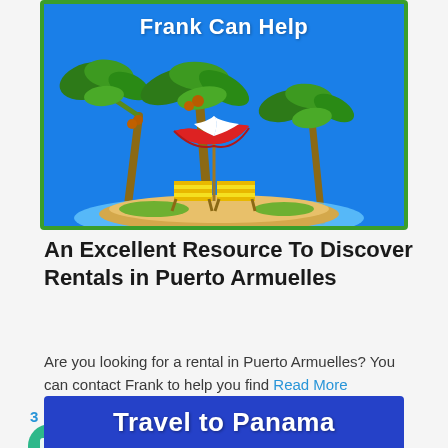[Figure (illustration): Blue background banner with text 'Frank Can Help' in bold white letters at top, and a tropical island scene below featuring palm trees, beach chairs, and a red-and-white striped umbrella on a sandy island with water, surrounded by a green border.]
An Excellent Resource To Discover Rentals in Puerto Armuelles
Are you looking for a rental in Puerto Armuelles? You can contact Frank to help you find Read More
3
[Figure (illustration): Blue banner partially visible at the bottom with bold white text 'Travel to Panama']